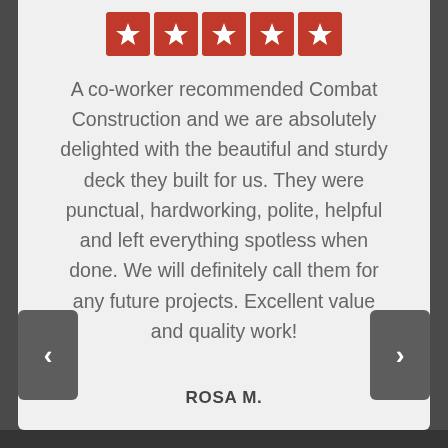[Figure (other): Five red star rating boxes with white stars]
A co-worker recommended Combat Construction and we are absolutely delighted with the beautiful and sturdy deck they built for us. They were punctual, hardworking, polite, helpful and left everything spotless when done. We will definitely call them for any future projects. Excellent value and quality work!
ROSA M.